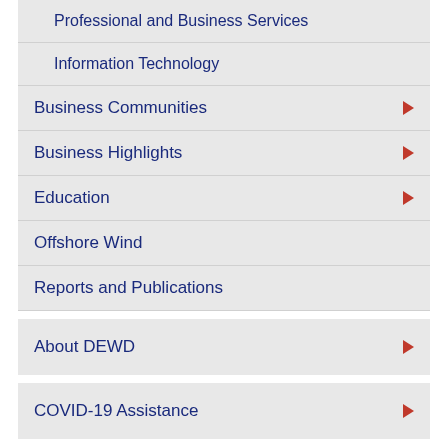Professional and Business Services
Information Technology
Business Communities
Business Highlights
Education
Offshore Wind
Reports and Publications
About DEWD
COVID-19 Assistance
MOST REQUESTED SERVICES
Animal Services